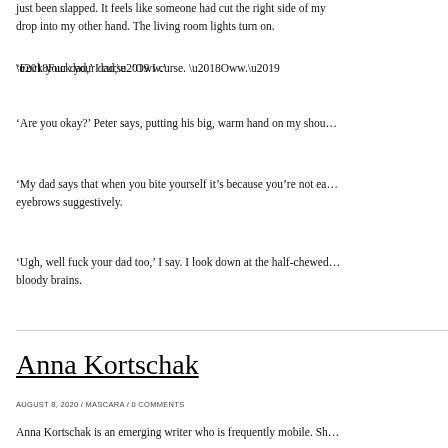just been slapped. It feels like someone had cut the right side of my drop into my other hand. The living room lights turn on.
‘Fuck your dad,’ I curse. ‘Oww.’
‘Are you okay?’ Peter says, putting his big, warm hand on my shou…
‘My dad says that when you bite yourself it’s because you’re not ea… eyebrows suggestively.
‘Ugh, well fuck your dad too,’ I say. I look down at the half-chewed… bloody brains.
Anna Kortschak
AUGUST 8, 2020 / MASCARA / 0 COMMENTS
Anna Kortschak is an emerging writer who is frequently mobile. Sh…